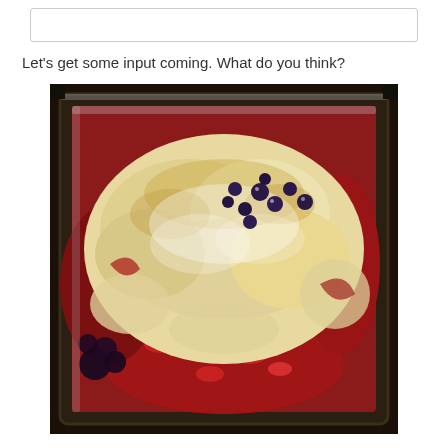Let's get some input coming. What do you think?
[Figure (photo): A berry cobbler or crumble baked in a square glass baking dish, showing a golden biscuit/dough topping with visible blueberries, strawberries, and blackberries peeking through, with red berry juice around the edges. The dish is sitting on a dark stovetop.]